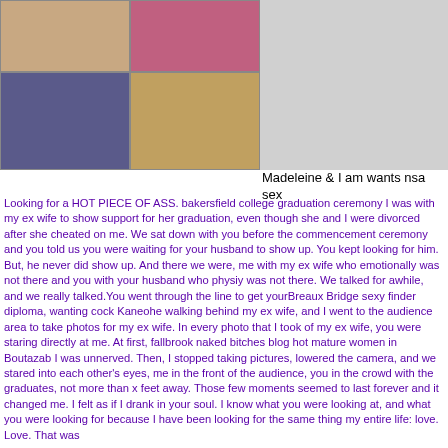[Figure (photo): Grid of four photos showing women]
Madeleine & I am wants nsa sex
Looking for a HOT PIECE OF ASS. bakersfield college graduation ceremony I was with my ex wife to show support for her graduation, even though she and I were divorced after she cheated on me. We sat down with you before the commencement ceremony and you told us you were waiting for your husband to show up. You kept looking for him. But, he never did show up. And there we were, me with my ex wife who emotionally was not there and you with your husband who physiy was not there. We talked for awhile, and we really talked.You went through the line to get yourBreaux Bridge sexy finder diploma, wanting cock Kaneohe walking behind my ex wife, and I went to the audience area to take photos for my ex wife. In every photo that I took of my ex wife, you were staring directly at me. At first, fallbrook naked bitches blog hot mature women in Boutazab I was unnerved. Then, I stopped taking pictures, lowered the camera, and we stared into each other's eyes, me in the front of the audience, you in the crowd with the graduates, not more than x feet away. Those few moments seemed to last forever and it changed me. I felt as if I drank in your soul. I know what you were looking at, and what you were looking for because I have been looking for the same thing my entire life: love. Love. That was